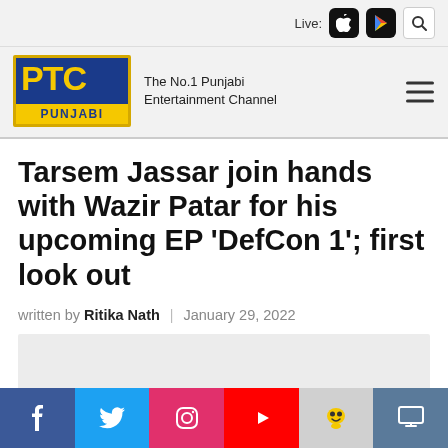Live:
[Figure (logo): PTC Punjabi logo with tagline: The No.1 Punjabi Entertainment Channel]
Tarsem Jassar join hands with Wazir Patar for his upcoming EP 'DefCon 1'; first look out
written by Ritika Nath | January 29, 2022
[Figure (photo): Article image placeholder (light grey)]
Facebook, Twitter, Instagram, YouTube, Koo, TV social links